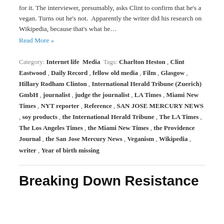for it. The interviewer, presumably, asks Clint to confirm that he's a vegan. Turns out he's not.  Apparently the writer did his research on Wikipedia, because that's what he…
Read More »
Category: Internet life  Media  Tags: Charlton Heston , Clint Eastwood , Daily Record , fellow old media , Film , Glasgow , Hillary Rodham Clinton , International Herald Tribune (Zuerich) GmbH , journalist , judge the journalist , LA Times , Miami New Times , NYT reporter , Reference , SAN JOSE MERCURY NEWS , soy products , the International Herald Tribune , The LA Times , The Los Angeles Times , the Miami New Times , the Providence Journal , the San Jose Mercury News , Veganism , Wikipedia , writer , Year of birth missing
Breaking Down Resistance